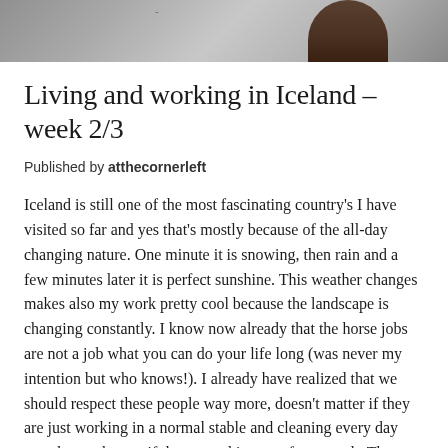[Figure (photo): Top portion of a photo showing a snowy/wintry outdoor scene, partially cropped at the top of the page]
Living and working in Iceland – week 2/3
Published by atthecornerleft
Iceland is still one of the most fascinating country's I have visited so far and yes that's mostly because of the all-day changing nature. One minute it is snowing, then rain and a few minutes later it is perfect sunshine. This weather changes makes also my work pretty cool because the landscape is changing constantly. I know now already that the horse jobs are not a job what you can do your life long (was never my intention but who knows!). I already have realized that we should respect these people way more, doesn't matter if they are just working in a normal stable and cleaning every day your horses box or if they are taking you from a to b. These people working 8-10 hours hard body work, still a lot